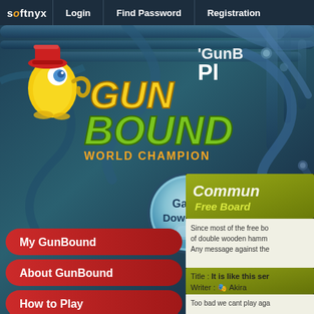softnyx  Login  Find Password  Registration
[Figure (screenshot): GunBound World Champion game website banner with mascot character, game logo, dark pipe/cable background, and 'Game Download' button]
'GunB... Pl...
Commun... Free Board
Since most of the free bo... of double wooden hamm... Any message against the...
Title  : It is like this ser...
Writer : Akira
Too bad we cant play aga...
My GunBound
About GunBound
How to Play
Community